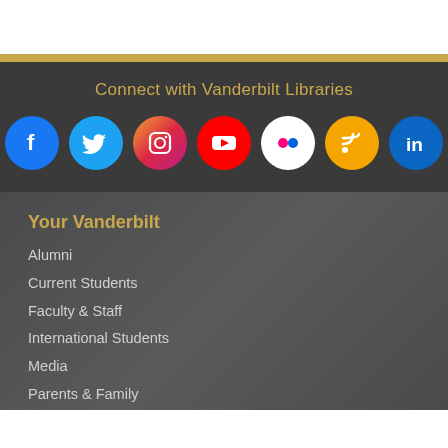Connect with Vanderbilt Libraries
[Figure (infographic): Social media icons: Facebook, Twitter, Instagram, YouTube, Flickr, RSS, LinkedIn]
Your Vanderbilt
Alumni
Current Students
Faculty & Staff
International Students
Media
Parents & Family
Prospective Students
Researchers